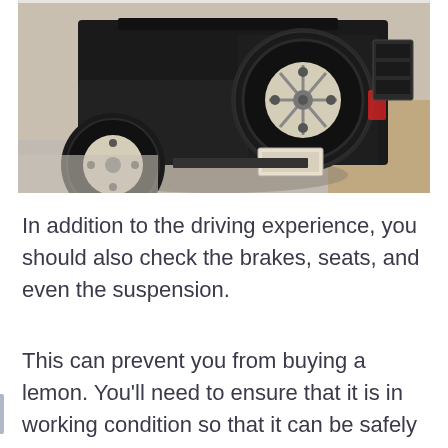[Figure (photo): Rear view of a black off-road vehicle (Land Rover Defender style) with a spare tire mounted on the back, cream/white steel wheels with all-terrain tires, license plate visible, parked on a concrete surface with gravel/landscaping in the background.]
In addition to the driving experience, you should also check the brakes, seats, and even the suspension.
This can prevent you from buying a lemon. You’ll need to ensure that it is in working condition so that it can be safely transported.